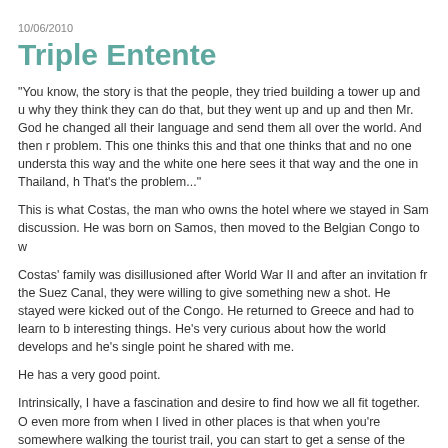10/06/2010
Triple Entente
"You know, the story is that the people, they tried building a tower up and u why they think they can do that, but they went up and up and then Mr. God he changed all their language and send them all over the world. And then r problem. This one thinks this and that one thinks that and no one understa this way and the white one here sees it that way and the one in Thailand, h That's the problem..."
This is what Costas, the man who owns the hotel where we stayed in Sam discussion. He was born on Samos, then moved to the Belgian Congo to w
Costas' family was disillusioned after World War II and after an invitation fr the Suez Canal, they were willing to give something new a shot. He stayed were kicked out of the Congo. He returned to Greece and had to learn to b interesting things. He's very curious about how the world develops and he's single point he shared with me.
He has a very good point.
Intrinsically, I have a fascination and desire to find how we all fit together. O even more from when I lived in other places is that when you're somewhere walking the tourist trail, you can start to get a sense of the place and the pe best part.
So far as I've gone - every worldview makes sense to me. Through a set o society comes to develop their window on the world, life and the universe. they see the whole thing - because clearly, everyone has a window. They s